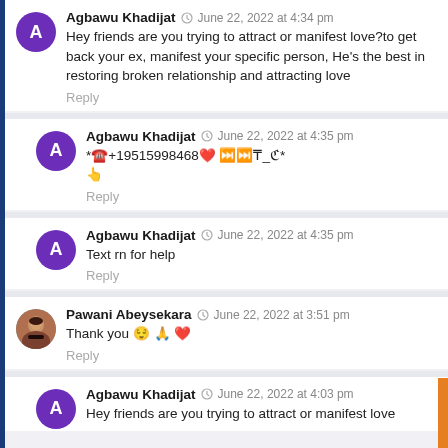Agbawu Khadijat · June 22, 2022 at 4:34 pm
Hey friends are you trying to attract or manifest love?to get back your ex, manifest your specific person, He's the best in restoring broken relationship and attracting love
Reply
Agbawu Khadijat · June 22, 2022 at 4:35 pm
*☎️+19515998468❤️ ⏭️⏭️₸_ℭ*
👆
Reply
Agbawu Khadijat · June 22, 2022 at 4:35 pm
Text rn for help
Reply
Pawani Abeysekara · June 22, 2022 at 3:51 pm
Thank you 😌 🙏 ❤️
Reply
Agbawu Khadijat · June 22, 2022 at 4:03 pm
Hey friends are you trying to attract or manifest love